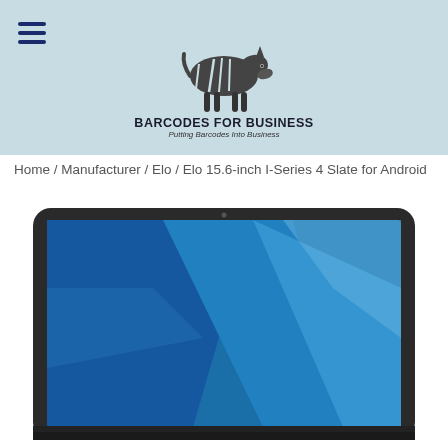BARCODES FOR BUSINESS — Putting Barcodes Into Business
Home / Manufacturer / Elo / Elo 15.6-inch I-Series 4 Slate for Android
[Figure (photo): Elo 15.6-inch I-Series 4 Slate for Android tablet device shown face-on with a blue geometric wallpaper displayed on screen, black bezel and frame.]